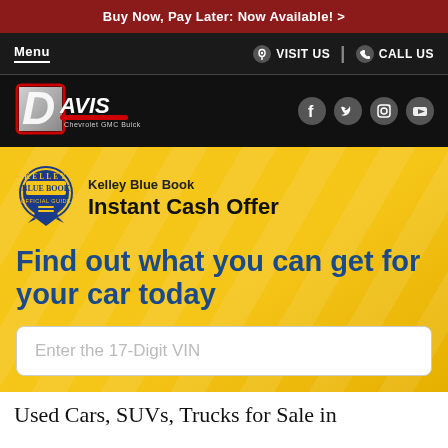Buy Now, Pay Later: Now Available! >
Menu
VISIT US | CALL US
[Figure (logo): Davis Chevrolet GMC Buick dealership logo with stylized D shield and red/silver lettering]
[Figure (logo): Social media icons: Facebook, Twitter, Instagram, YouTube]
[Figure (logo): Kelley Blue Book Official Guide badge/seal]
Kelley Blue Book
Instant Cash Offer
Find out what you can get for your car today
Enter the 17-Digit VIN
Used Cars, SUVs, Trucks for Sale in